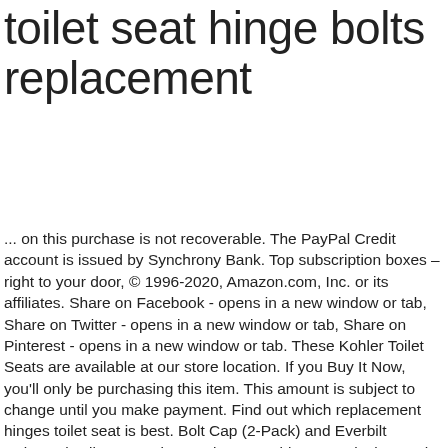toilet seat hinge bolts replacement
... on this purchase is not recoverable. The PayPal Credit account is issued by Synchrony Bank. Top subscription boxes – right to your door, © 1996-2020, Amazon.com, Inc. or its affiliates. Share on Facebook - opens in a new window or tab, Share on Twitter - opens in a new window or tab, Share on Pinterest - opens in a new window or tab. These Kohler Toilet Seats are available at our store location. If you Buy It Now, you'll only be purchasing this item. This amount is subject to change until you make payment. Find out which replacement hinges toilet seat is best. Bolt Cap (2-Pack) and Everbilt Universal Toilet Seat Hinge Bolts Assembly are exclusive to The Home Depot. After viewing product detail pages, look here to find an easy way to navigate back to pages you are interested in. For additional information, see the Global Shipping Program, This amount includes applicable customs duties, taxes, brokerage and other fees. That's why you want to make sure your toilet seat hinges and toilet seat hinge bolts are reliable, durable and in good repair. These replacement toilet seat hinge bolts are made from plastic. Does your toilet seat or lid slam down? Any international shipping and import charges are paid in part to Pitney Bowes Inc.